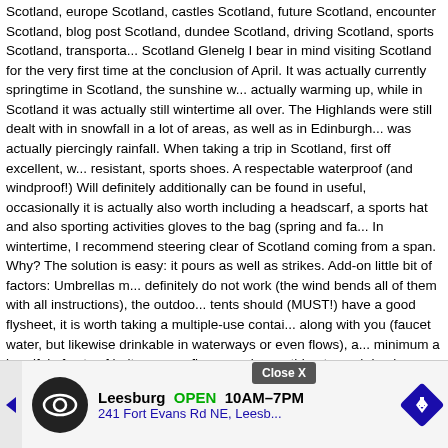Scotland, europe Scotland, castles Scotland, future Scotland, encounter Scotland, blog post Scotland, dundee Scotland, driving Scotland, sports Scotland, transportation Scotland Glenelg I bear in mind visiting Scotland for the very first time at the conclusion of April. It was actually currently springtime in Scotland, the sunshine was actually warming up, while in Scotland it was actually still wintertime all over. The Highlands were still dealt with in snowfall in a lot of areas, as well as in Edinburgh it was actually piercingly rainfall. When taking a trip in Scotland, first off excellent, water resistant, sports shoes. A respectable waterproof (and windproof!) Will definitely additionally can be found in useful, occasionally it is actually also worth including a headscarf, a sports hat and also sporting activities gloves to the bag (spring and fall). In wintertime, I recommend steering clear of Scotland coming from a span. Why? The solution is easy: it pours as well as strikes. Add-on little bit of factors: Umbrellas most definitely do not work (the wind bends all of them with all instructions), the outdoor tents should (MUST!) have a good flysheet, it is worth taking a multiple-use container along with you (faucet water, but likewise drinkable in waterways or even flows), at minimum a handful of sets of belts, a cozy fleece and something to push back nasty flies (I advise a smidge). When it comes to a low-budget excursion, rest in a tent or even keep merely in hotels (cost regarding PLN 80 every evening). You must attempt sea food (they are tasty!), Whiskey, visit at the very least one whiskey and instructions, fish and also chips along with white vinegar at minimum as soon as. I wish that using this article I encouraged my buddies (:-RRB-) however also unfamiliar people to journey to Scotland. It is actually truly worth a hundred opportunities! I invite you to, if only I am still listed here. Gorgeous Scottish beaches. Loch Lomond Backpack. Iona- tiny isle, white beach fronts. Isle of Skye. Glencoe. Eilean Donan Castle. Island of Arran. Scotland is actually undoubtedly a definitely stunning country, and every time it is gone the sun goes wonderful along the United States, Portugal and also Italy, Spain. Ar... like the entire of Great Britain... springtime in Scotland... months a...
[Figure (screenshot): Advertisement overlay showing a local business ad: Leesburg OPEN 10AM-7PM, 241 Fort Evans Rd NE, Leesb... with a circular dark logo with infinity symbol and a blue diamond navigation icon. A 'Close X' button appears above the ad.]